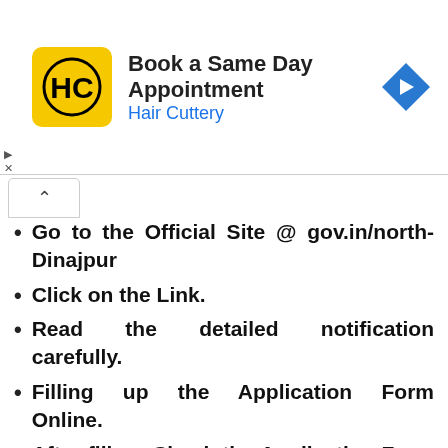[Figure (infographic): Hair Cuttery advertisement banner with yellow logo, 'Book a Same Day Appointment' text, and blue navigation arrow icon]
Go to the Official Site @ gov.in/north-Dinajpur
Click on the Link.
Read the detailed notification carefully.
Filling up the Application Form Online.
After fill up Check the Application Form and Press “SUBMIT” Button